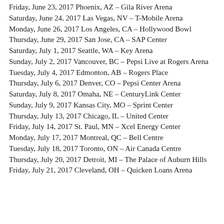Friday, June 23, 2017 Phoenix, AZ – Gila River Arena
Saturday, June 24, 2017 Las Vegas, NV – T-Mobile Arena
Monday, June 26, 2017 Los Angeles, CA – Hollywood Bowl
Thursday, June 29, 2017 San Jose, CA – SAP Center
Saturday, July 1, 2017 Seattle, WA – Key Arena
Sunday, July 2, 2017 Vancouver, BC – Pepsi Live at Rogers Arena
Tuesday, July 4, 2017 Edmonton, AB – Rogers Place
Thursday, July 6, 2017 Denver, CO – Pepsi Center Arena
Saturday, July 8, 2017 Omaha, NE – CenturyLink Center
Sunday, July 9, 2017 Kansas City, MO – Sprint Center
Thursday, July 13, 2017 Chicago, IL – United Center
Friday, July 14, 2017 St. Paul, MN – Xcel Energy Center
Monday, July 17, 2017 Montreal, QC – Bell Centre
Tuesday, July 18, 2017 Toronto, ON – Air Canada Centre
Thursday, July 20, 2017 Detroit, MI – The Palace of Auburn Hills
Friday, July 21, 2017 Cleveland, OH – Quicken Loans Arena